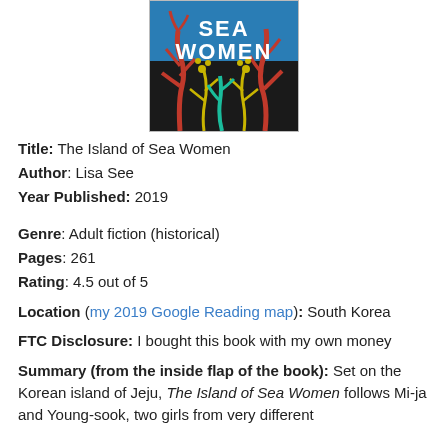[Figure (illustration): Book cover of 'The Island of Sea Women' by Lisa See, showing colorful botanical illustrations of seaweed and plants in yellow, red, and teal on a dark background with blue ocean, and white text reading 'SEA WOMEN']
Title: The Island of Sea Women
Author: Lisa See
Year Published: 2019
Genre: Adult fiction (historical)
Pages: 261
Rating: 4.5 out of 5
Location (my 2019 Google Reading map): South Korea
FTC Disclosure: I bought this book with my own money
Summary (from the inside flap of the book): Set on the Korean island of Jeju, The Island of Sea Women follows Mi-ja and Young-sook, two girls from very different